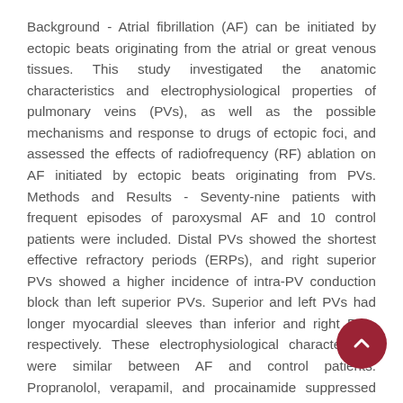Background - Atrial fibrillation (AF) can be initiated by ectopic beats originating from the atrial or great venous tissues. This study investigated the anatomic characteristics and electrophysiological properties of pulmonary veins (PVs), as well as the possible mechanisms and response to drugs of ectopic foci, and assessed the effects of radiofrequency (RF) ablation on AF initiated by ectopic beats originating from PVs. Methods and Results - Seventy-nine patients with frequent episodes of paroxysmal AF and 10 control patients were included. Distal PVs showed the shortest effective refractory periods (ERPs), and right superior PVs showed a higher incidence of intra-PV conduction block than left superior PVs. Superior and left PVs had longer myocardial sleeves than inferior and right PVs, respectively. These electrophysiological characteristics were similar between AF and control patients. Propranolol, verapamil, and procainamide suppressed ectopic beats that originated from the PVs. Of 116 ectopic foci that initiated AF, 103 (88.8%) originated from PVs. A mean of 7±3 RF applications completely eliminated 110 ectopic foci (94.8%). During the 6±2-month follow-up period, 68 patients (86.1%) were free of AF without any antiarrhythmic drugs. Follow- up transesophageal echocardiogram showed 42.4% of ablated PVs had focal